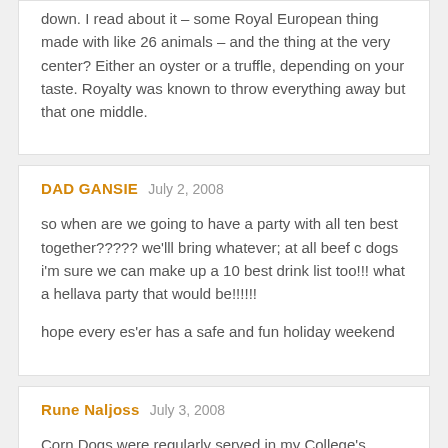down. I read about it – some Royal European thing made with like 26 animals – and the thing at the very center? Either an oyster or a truffle, depending on your taste. Royalty was known to throw everything away but that one middle.
DAD GANSIE   July 2, 2008
so when are we going to have a party with all ten best together????? we'lll bring whatever; at all beef c dogs i'm sure we can make up a 10 best drink list too!!! what a hellava party that would be!!!!!!

hope every es'er has a safe and fun holiday weekend
Rune Naljoss   July 3, 2008
Corn Dogs were regularly served in my College's canteen. I was surprised by this food (a naive foreigner, then), but almost immediately took to its obvious advantages over all foods that.